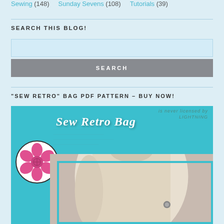Sewing (148)   Sunday Sevens (108)   Tutorials (39)
SEARCH THIS BLOG!
SEARCH
"SEW RETRO" BAG PDF PATTERN – BUY NOW!
[Figure (illustration): Sew Retro Bag product image with teal background, pink flower logo in a white circle, 'Sew Retro Bag' retro italic title text in white, and a photo of a person wearing/holding a cream-colored bag with a teal frame border.]